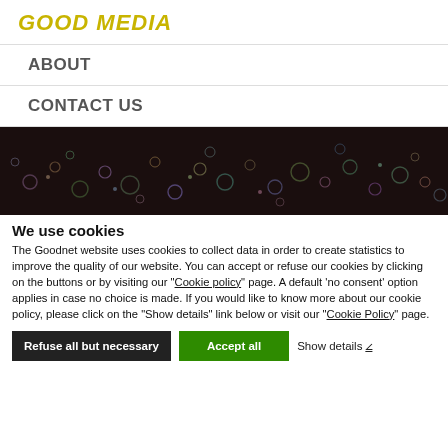GOOD MEDIA
ABOUT
CONTACT US
[Figure (photo): Dark background with scattered colorful bokeh circles (glitter or sequins effect)]
We use cookies
The Goodnet website uses cookies to collect data in order to create statistics to improve the quality of our website. You can accept or refuse our cookies by clicking on the buttons or by visiting our "Cookie policy" page. A default 'no consent' option applies in case no choice is made. If you would like to know more about our cookie policy, please click on the "Show details" link below or visit our "Cookie Policy" page.
Refuse all but necessary
Accept all
Show details